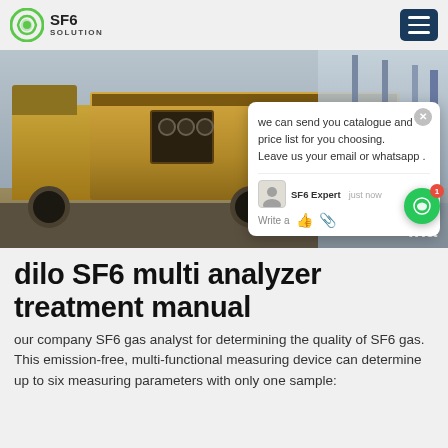SF6 SOLUTION
[Figure (photo): SF6 gas treatment vehicle/truck with industrial machinery at a power substation site. Chat popup overlay visible showing message about catalogue and price list.]
dilo SF6 multi analyzer treatment manual
our company SF6 gas analyst for determining the quality of SF6 gas. This emission-free, multi-functional measuring device can determine up to six measuring parameters with only one sample: